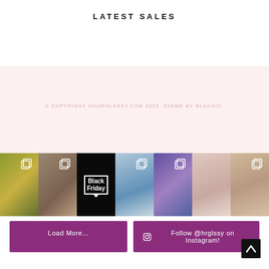LATEST SALES
© COPYRIGHT HOURGLASSY.COM 2022. THEME BY BLUCHIC.
[Figure (photo): Instagram photo grid strip showing 7 fashion/lifestyle images including a woman in a park, woman in black outfit, Black Friday tag, woman in blue dress, two women in casual clothing, woman in white bra, and woman in beige bra. Each photo has a multi-image icon overlay. Below are two purple buttons: 'Load More...' and 'Follow @hrglssy on Instagram!']
Load More...
Follow @hrglssy on Instagram!